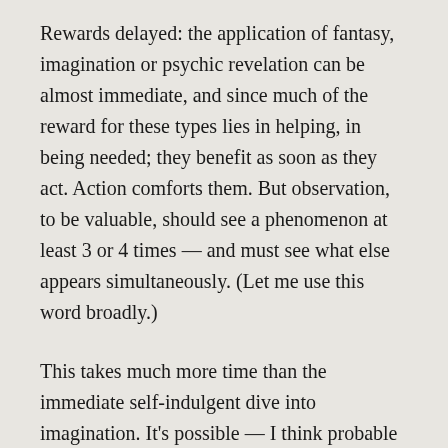Rewards delayed: the application of fantasy, imagination or psychic revelation can be almost immediate, and since much of the reward for these types lies in helping, in being needed; they benefit as soon as they act. Action comforts them. But observation, to be valuable, should see a phenomenon at least 3 or 4 times — and must see what else appears simultaneously. (Let me use this word broadly.)
This takes much more time than the immediate self-indulgent dive into imagination. It's possible — I think probable — that what I call imagination might be psychic insight or revelations unremarked, and valuable for that. Or, it is simply imagination, and has shaped the movements of nations. Whether insight or fantasy, I suspect that the hard truths of